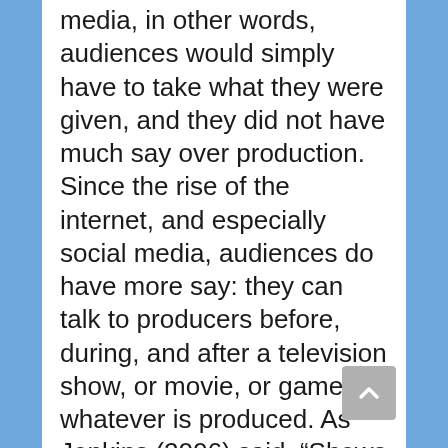media, in other words, audiences would simply have to take what they were given, and they did not have much say over production. Since the rise of the internet, and especially social media, audiences do have more say: they can talk to producers before, during, and after a television show, or movie, or game, or whatever is produced. As Jenkins (2006) said, “Shows which attract strong fan interests have a somewhat stronger chance of surviving.” That means, if the producers listen to what the fans want, then their productions will do better. Or, at least, that is the idea.
Ten years later, Kresnicka’s (2016) writing reiterates this power of fans by